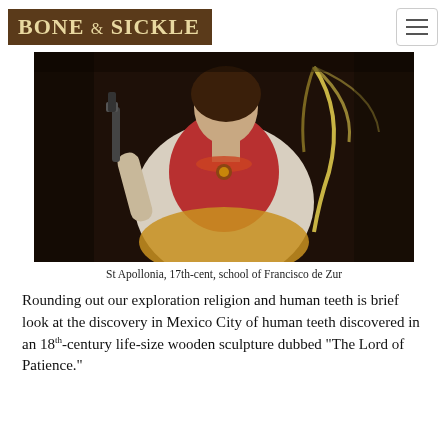BONE & SICKLE
[Figure (photo): Painting of St Apollonia, a young woman in period dress holding dental forceps in one hand and a palm frond in the other, wearing a red vest and ornate necklace, dark background.]
St Apollonia, 17th-cent, school of Francisco de Zur
Rounding out our exploration religion and human teeth is brief look at the discovery in Mexico City of human teeth discovered in an 18th-century life-size wooden sculpture dubbed "The Lord of Patience."